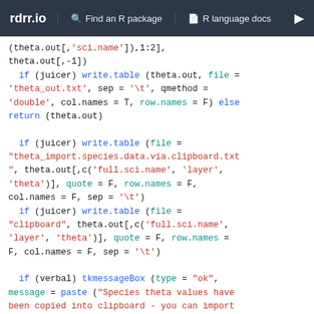rdrr.io   Find an R package   R language docs
(theta.out[,'sci.name']),1:2],
theta.out[,-1])
  if (juicer) write.table (theta.out, file =
'theta_out.txt', sep = '\t', qmethod =
'double', col.names = T, row.names = F) else
return (theta.out)

  if (juicer) write.table (file =
"theta_import.species.data.via.clipboard.txt
", theta.out[,c('full.sci.name', 'layer',
'theta')], quote = F, row.names = F,
col.names = F, sep = '\t')
  if (juicer) write.table (file =
"clipboard", theta.out[,c('full.sci.name',
'layer', 'theta')], quote = F, row.names =
F, col.names = F, sep = '\t')

  if (verbal) tkmessageBox (type = "ok",
message = paste ("Species theta values have
been copied into clipboard - you can import
them directly into JUICE (Edit > Paste...